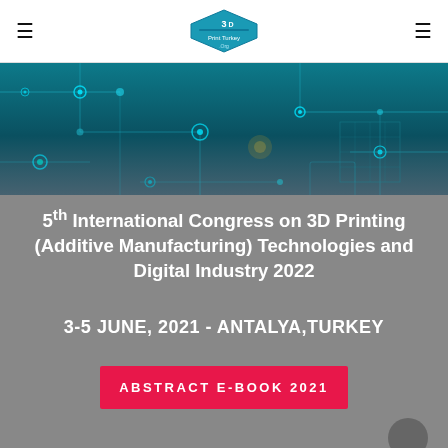Print Turkey .Org — navigation header with hamburger menus and logo
[Figure (illustration): Tech/circuit board background image in teal/dark blue tones with glowing circular nodes and interconnected lines suggesting digital manufacturing technology]
5th International Congress on 3D Printing (Additive Manufacturing) Technologies and Digital Industry 2022
3-5 JUNE, 2021 - ANTALYA,TURKEY
ABSTRACT E-BOOK 2021